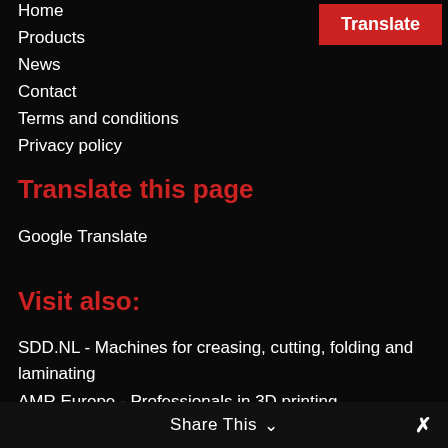Home
Products
News
Contact
Terms and conditions
Privacy policy
Translate
Translate this page
Google Translate
Visit also:
SDD.NL - Machines for creasing, cutting, folding and laminating
AMR Europe - Professionals in 3D printing
Share This ∨  ✕